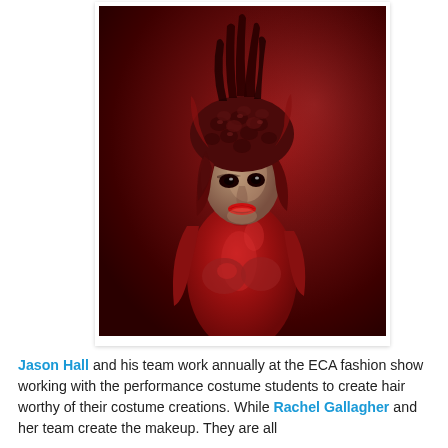[Figure (photo): A model with red body paint covering the entire body, wearing an elaborate sculptural headpiece made of dark red textured material with spiky feather-like elements on top. The background is a deep red/maroon color. The figure is posed facing slightly to the side.]
Jason Hall and his team work annually at the ECA fashion show working with the performance costume students to create hair worthy of their costume creations. While Rachel Gallagher and her team create the makeup. They are all